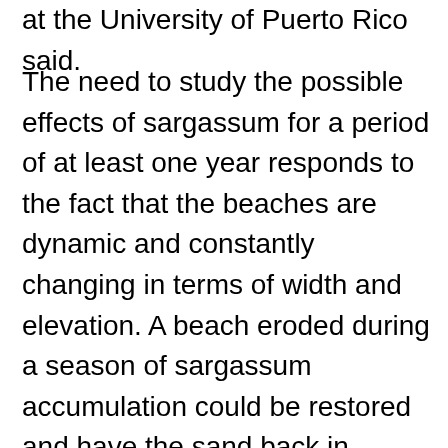at the University of Puerto Rico said.
The need to study the possible effects of sargassum for a period of at least one year responds to the fact that the beaches are dynamic and constantly changing in terms of width and elevation. A beach eroded during a season of sargassum accumulation could be restored and have the sand back in weeks or months. These scenarios will also depend on the type of sand, the behavior of the swell, as well as the general characteristics of the beach.